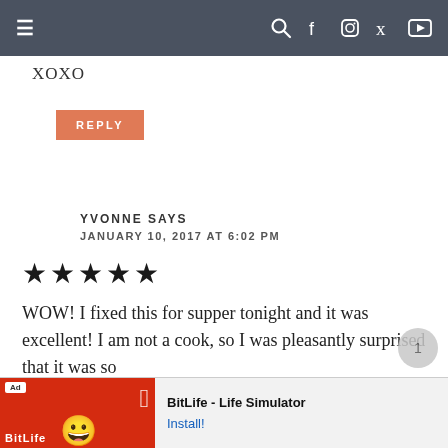≡  🔍 f 📷 p ▶
XOXO
REPLY
YVONNE SAYS
JANUARY 10, 2017 AT 6:02 PM
★★★★★
WOW! I fixed this for supper tonight and it was excellent! I am not a cook, so I was pleasantly surprised that it was so
[Figure (screenshot): Ad banner for BitLife - Life Simulator app with Install button]